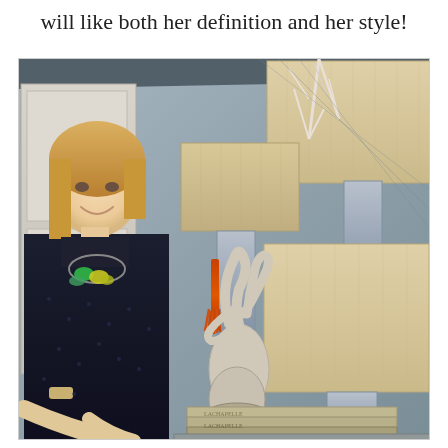will like both her definition and her style!
[Figure (photo): A smiling blonde woman wearing a dark navy polka dot blouse with a colorful statement necklace, standing next to a console table decorated with lamps featuring orange tassels, an antler sculpture, stacked books, and white branch decorations against a blue-gray wall.]